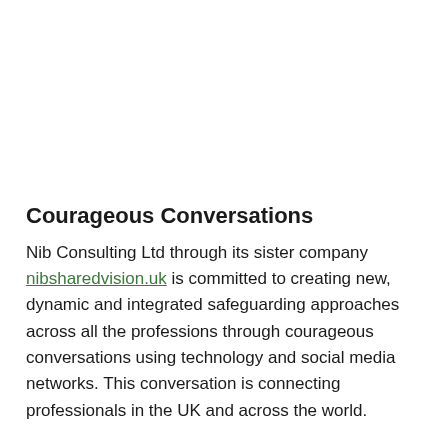Courageous Conversations
Nib Consulting Ltd through its sister company nibsharedvision.uk is committed to creating new, dynamic and integrated safeguarding approaches across all the professions through courageous conversations using technology and social media networks. This conversation is connecting professionals in the UK and across the world.